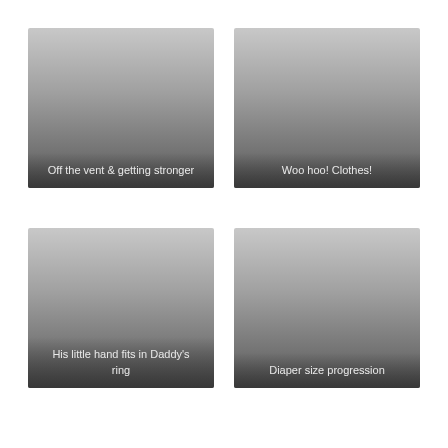[Figure (photo): Photo placeholder with gradient background, caption: Off the vent & getting stronger]
[Figure (photo): Photo placeholder with gradient background, caption: Woo hoo! Clothes!]
[Figure (photo): Photo placeholder with gradient background, caption: His little hand fits in Daddy's ring]
[Figure (photo): Photo placeholder with gradient background, caption: Diaper size progression]